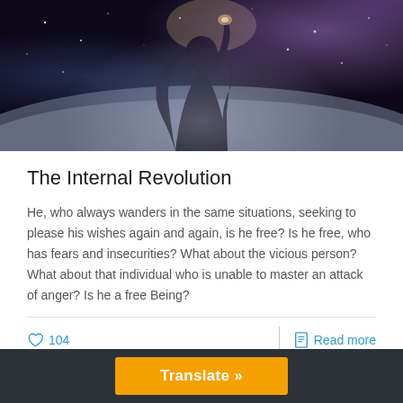[Figure (illustration): A silhouette of a woman with long dark hair, holding something up in her hands, against a dramatic cosmic/space background with nebula, stars, and a view of a planet or Earth's surface in the lower portion. Purple, blue, and dark tones dominate.]
The Internal Revolution
He, who always wanders in the same situations, seeking to please his wishes again and again, is he free? Is he free, who has fears and insecurities? What about the vicious person? What about that individual who is unable to master an attack of anger? Is he a free Being?
♡ 104
Read more
Translate »